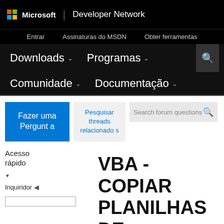Microsoft | Developer Network
Entrar   Assinaturas do MSDN   Obter ferramentas
Downloads ∨   Programas ∨   Comunidade ∨   Documentação ∨
Fazer uma Pergunta
Pesquisar threads relacionados
Search forum questions
Acesso rápido
Inquiridor
VBA - COPIAR PLANILHAS DE